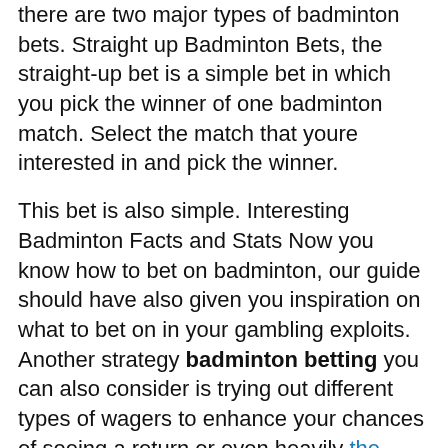there are two major types of badminton bets. Straight up Badminton Bets, the straight-up bet is a simple bet in which you pick the winner of one badminton match. Select the match that youre interested in and pick the winner.
This bet is also simple. Interesting Badminton Facts and Stats Now you know how to bet on badminton, our guide should have also given you inspiration on what to bet on in your gambling exploits. Another strategy badminton betting you can also consider is trying out different types of wagers to enhance your chances of seeing a return or even heavily the royal exchange betting boosting the amount you can win when gambling. What Tournaments do the Bookmakers Offer? If we have to choose a couple of competitions that truly stand out, then we will pick the BWF World Championships and the Olympic Games.
Badminton is still a niche sports betting market that doesnt get a fraction of the attention soccer, basketball, football, and baseball all receive from oddsmakers or the public. Bet 10* Get 50* in Free Bets.